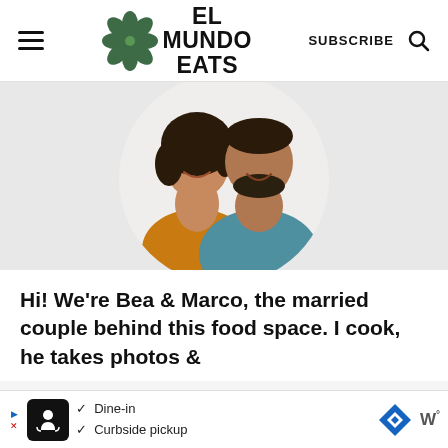El Mundo Eats — SUBSCRIBE
[Figure (photo): Circular cropped photo of a smiling couple — a woman with curly hair in a mustard/orange top on the left, and a man with a beard in a teal shirt on the right, on a white background.]
Hi! We're Bea & Marco, the married couple behind this food space. I cook, he takes photos &
[Figure (infographic): Advertisement banner showing a restaurant icon, checkmarks for Dine-in and Curbside pickup, a blue navigation arrow diamond icon, and a W° logo.]